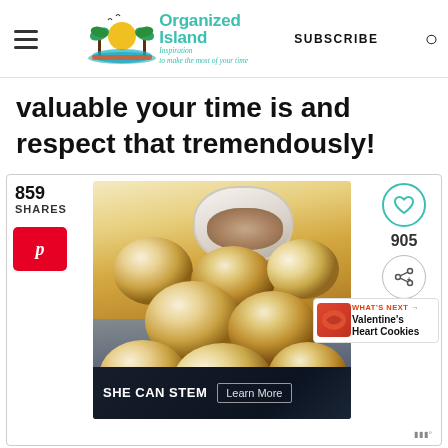Organized Island — Inspiration to make the most of your time | SUBSCRIBE
valuable your time is and respect that tremendously!
[Figure (photo): A photo of soft dinner rolls piled on a cloth next to a bowl of spread, with share counts of 859 shares, a Pinterest button, heart and share icons (905), and a What's Next panel for Valentine's Heart Cookies. Ad banner at bottom: SHE CAN STEM — Learn More.]